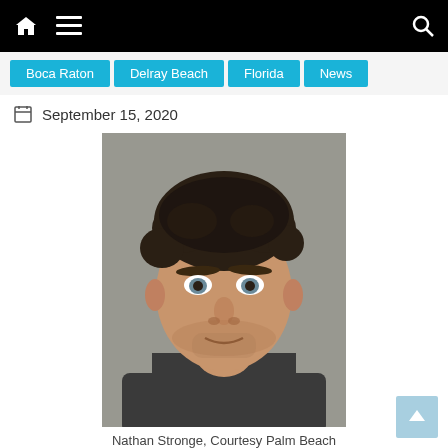Navigation bar with home, menu, and search icons
Boca Raton
Delray Beach
Florida
News
September 15, 2020
[Figure (photo): Mugshot of Nathan Stronge, a man with dark disheveled hair and stubble, wearing a dark shirt, against a gray background]
Nathan Stronge, Courtesy Palm Beach